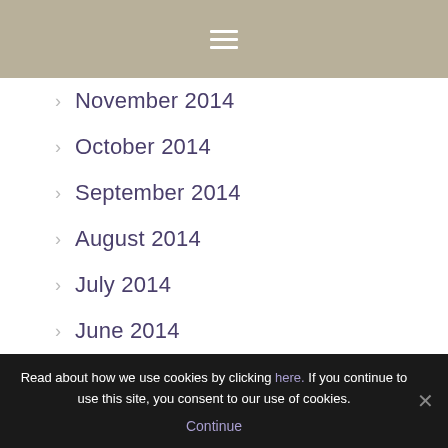≡
November 2014
October 2014
September 2014
August 2014
July 2014
June 2014
May 2014
April 2014
Read about how we use cookies by clicking here. If you continue to use this site, you consent to our use of cookies. Continue